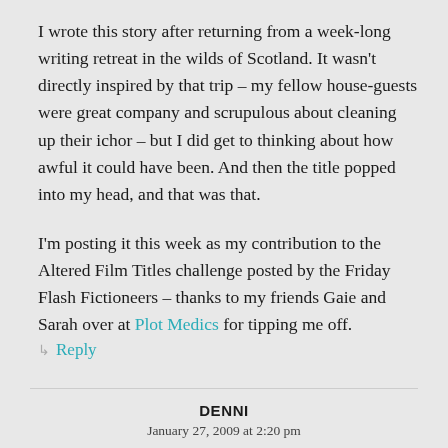I wrote this story after returning from a week-long writing retreat in the wilds of Scotland. It wasn't directly inspired by that trip – my fellow house-guests were great company and scrupulous about cleaning up their ichor – but I did get to thinking about how awful it could have been. And then the title popped into my head, and that was that.
I'm posting it this week as my contribution to the Altered Film Titles challenge posted by the Friday Flash Fictioneers – thanks to my friends Gaie and Sarah over at Plot Medics for tipping me off.
↳ Reply
DENNI
January 27, 2009 at 2:20 pm